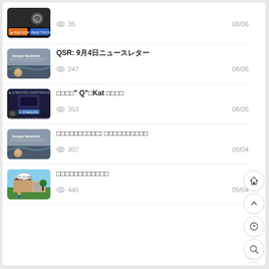35 views, 09/06
QSR: 9月4日ニュースレター, 247 views, 09/05
□□□□" Q"□Kat □□□□, 353 views, 09/05
□□□□□□□□□□: □□□□□□□□□□, 307 views, 09/04
□□□□□□□□□□□□, 446 views, 09/04